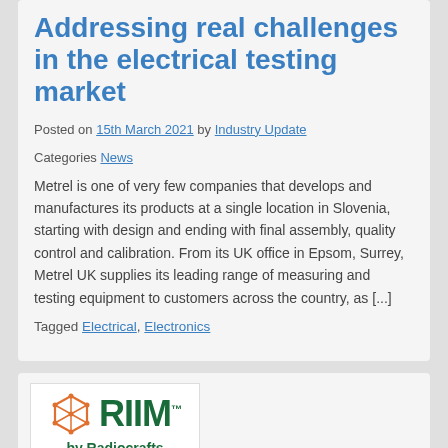Addressing real challenges in the electrical testing market
Posted on 15th March 2021 by Industry Update
Categories News
Metrel is one of very few companies that develops and manufactures its products at a single location in Slovenia, starting with design and ending with final assembly, quality control and calibration. From its UK office in Epsom, Surrey, Metrel UK supplies its leading range of measuring and testing equipment to customers across the country, as [...]
Tagged Electrical, Electronics
[Figure (logo): RIIM by Radiocrafts logo with orange hexagonal network icon, green bold RIIM text, and a phone image below]